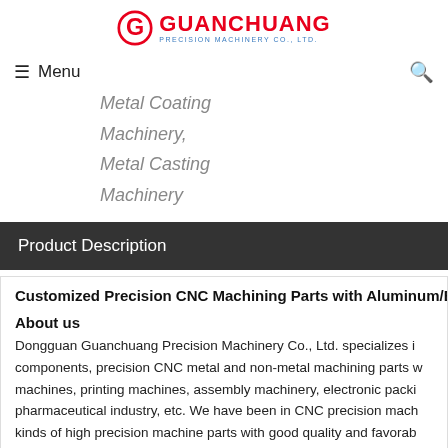[Figure (logo): Guanchuang Precision Machinery Co., Ltd. logo with red G emblem and company name]
Menu | Search
Metal Coating Machinery,
Metal Casting Machinery
Product Description
Customized Precision CNC Machining Parts with Aluminum/Br...
About us
Dongguan Guanchuang Precision Machinery Co., Ltd. specializes in components, precision CNC metal and non-metal machining parts with machines, printing machines, assembly machinery, electronic packing pharmaceutical industry, etc. We have been in CNC precision machining kinds of high precision machine parts with good quality and favorab